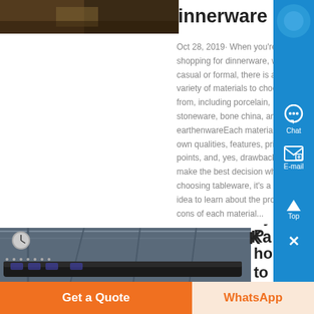[Figure (photo): Partial view of dinnerware/food image cropped at top left]
innerware
Oct 28, 2019· When you're shopping for dinnerware, whether casual or formal, there is a wide variety of materials to choose from, including porcelain, stoneware, bone china, and earthenwareEach material has its own qualities, features, price points, and, yes, drawbacks To make the best decision when choosing tableware, it's a good idea to learn about the pros and cons of each material...
[Figure (photo): Industrial facility or train station interior with overhead structures and vehicles]
Karst Topography Photos and Premium
[Figure (other): Right sidebar with blue background containing Chat, E-mail, Top, and close buttons]
Get a Quote
WhatsApp